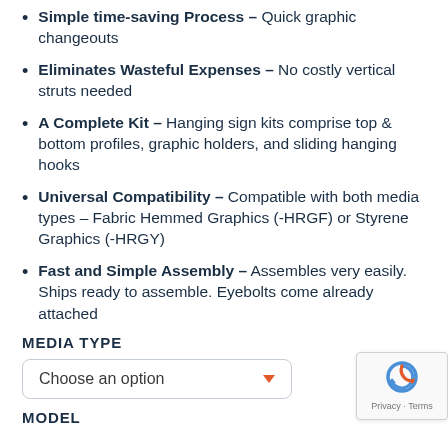Simple time-saving Process – Quick graphic changeouts
Eliminates Wasteful Expenses – No costly vertical struts needed
A Complete Kit – Hanging sign kits comprise top & bottom profiles, graphic holders, and sliding hanging hooks
Universal Compatibility – Compatible with both media types – Fabric Hemmed Graphics (-HRGF) or Styrene Graphics (-HRGY)
Fast and Simple Assembly – Assembles very easily. Ships ready to assemble. Eyebolts come already attached
MEDIA TYPE
Choose an option
MODEL